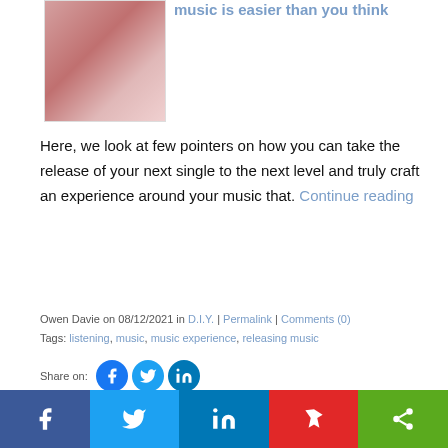[Figure (photo): Blurred close-up photo, partially visible at top of page, pinkish/red hues]
music is easier than you think
Here, we look at few pointers on how you can take the release of your next single to the next level and truly craft an experience around your music that. Continue reading
Owen Davie on 08/12/2021 in D.I.Y. | Permalink | Comments (0)
Tags: listening, music, music experience, releasing music
Share on:
[Figure (photo): Blurred dark photo thumbnail for second article]
Tips for making your daily music listening more enjoyable